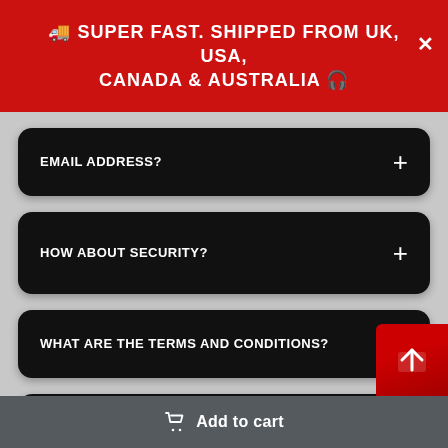🚚 SUPER FAST. SHIPPED FROM UK, USA, CANADA & AUSTRALIA 🎧
EMAIL ADDRESS?
HOW ABOUT SECURITY?
WHAT ARE THE TERMS AND CONDITIONS?
HOW CAN I CHANGE DELIVERY ADDRESS?
HOW ABOUT CUSTOMER SERVICE?
Add to cart